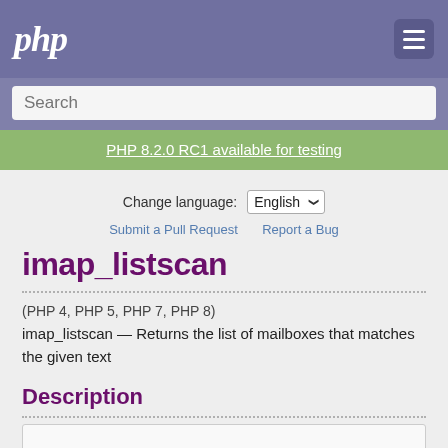php
Search
PHP 8.2.0 RC1 available for testing
Change language: English
Submit a Pull Request   Report a Bug
imap_listscan
(PHP 4, PHP 5, PHP 7, PHP 8)
imap_listscan — Returns the list of mailboxes that matches the given text
Description